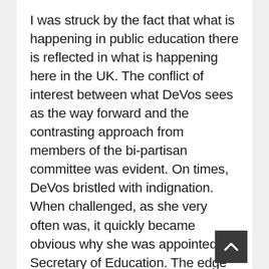I was struck by the fact that what is happening in public education there is reflected in what is happening here in the UK. The conflict of interest between what DeVos sees as the way forward and the contrasting approach from members of the bi-partisan committee was evident. On times, DeVos bristled with indignation. When challenged, as she very often was, it quickly became obvious why she was appointed as Secretary of Education. The edge she brought to her responses, with her cold or